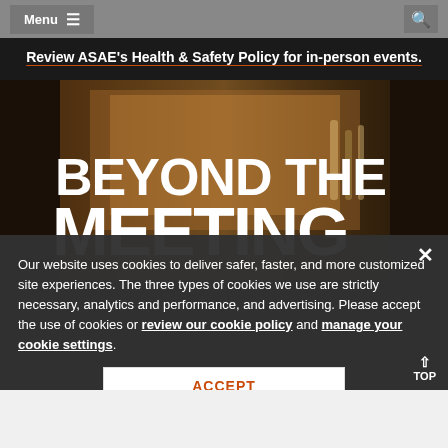Menu  [search icon]
Review ASAE's Health & Safety Policy for in-person events.
[Figure (photo): Photo showing large text 'BEYOND THE MEETING' overlaid on an event/conference scene with people and bottles in background]
Our website uses cookies to deliver safer, faster, and more customized site experiences. The three types of cookies we use are strictly necessary, analytics and performance, and advertising. Please accept the use of cookies or review our cookie policy and manage your cookie settings.
ACCEPT